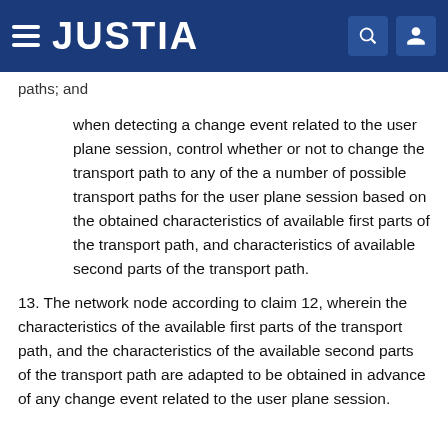JUSTIA
paths; and
when detecting a change event related to the user plane session, control whether or not to change the transport path to any of the a number of possible transport paths for the user plane session based on the obtained characteristics of available first parts of the transport path, and characteristics of available second parts of the transport path.
13. The network node according to claim 12, wherein the characteristics of the available first parts of the transport path, and the characteristics of the available second parts of the transport path are adapted to be obtained in advance of any change event related to the user plane session.